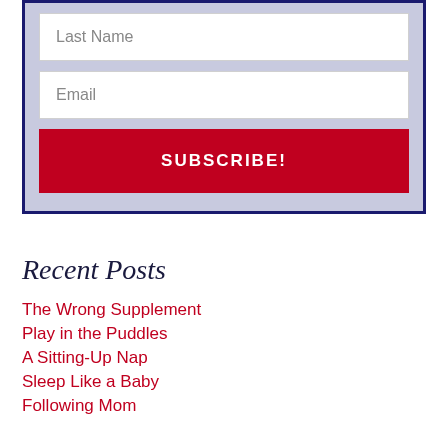[Figure (screenshot): Subscription form with Last Name field, Email field, and a red SUBSCRIBE! button on a light blue/purple background with dark navy border]
Recent Posts
The Wrong Supplement
Play in the Puddles
A Sitting-Up Nap
Sleep Like a Baby
Following Mom
Categories